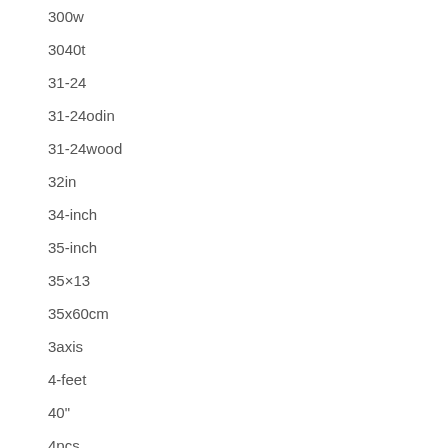300w
3040t
31-24
31-24odin
31-24wood
32in
34-inch
35-inch
35×13
35x60cm
3axis
4-feet
40"
4pcs
5065cm
53151cmworld
56-49wood